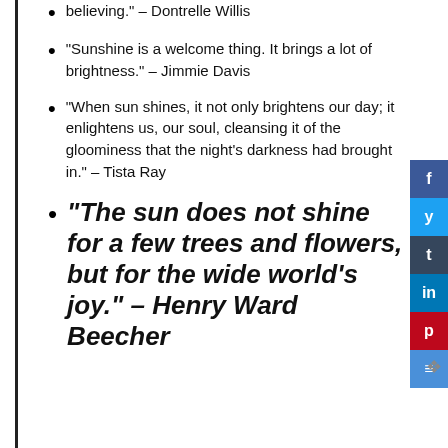“Sunshine is a welcome thing. It brings a lot of brightness.” – Jimmie Davis
“When sun shines, it not only brightens our day; it enlightens us, our soul, cleansing it of the gloominess that the night’s darkness had brought in.” – Tista Ray
“The sun does not shine for a few trees and flowers, but for the wide world’s joy.” – Henry Ward Beecher